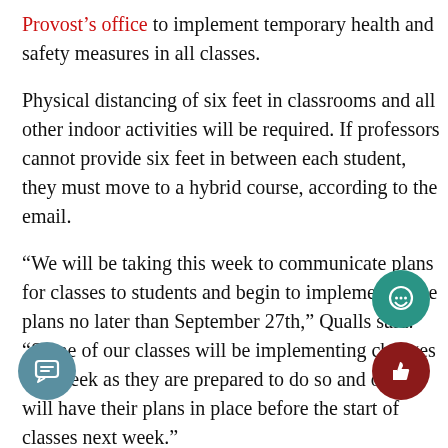Provost's office to implement temporary health and safety measures in all classes.
Physical distancing of six feet in classrooms and all other indoor activities will be required. If professors cannot provide six feet in between each student, they must move to a hybrid course, according to the email.
“We will be taking this week to communicate plans for classes to students and begin to implement these plans no later than September 27th,” Qualls said. “Some of our classes will be implementing changes this week as they are prepared to do so and others will have their plans in place before the start of classes next week.”
According to Qualls, the office expects classes to resume normal operations by the week of Oct. 18.
“We understand that the changes are disruptive but we do believe that these changes are temporary,” Qualls said.